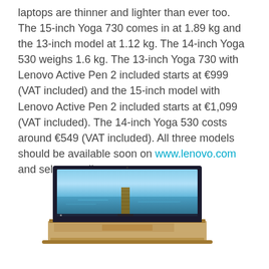laptops are thinner and lighter than ever too. The 15-inch Yoga 730 comes in at 1.89 kg and the 13-inch model at 1.12 kg. The 14-inch Yoga 530 weighs 1.6 kg. The 13-inch Yoga 730 with Lenovo Active Pen 2 included starts at €999 (VAT included) and the 15-inch model with Lenovo Active Pen 2 included starts at €1,099 (VAT included). The 14-inch Yoga 530 costs around €549 (VAT included). All three models should be available soon on www.lenovo.com and select retailers.
[Figure (photo): A Lenovo laptop (Yoga model) with a scenic beach/pier wallpaper displayed on screen, shown from a slightly elevated front angle. The chassis appears to be a gold/champagne color.]